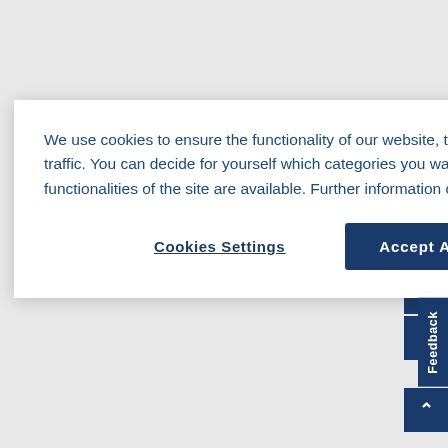construed the provision that enshrines the implicit powers of the Union
We use cookies to ensure the functionality of our website, to personalize content, to provide social media features, and to analyze our traffic. You can decide for yourself which categories you want to deny or allow. Please note that based on your settings not all functionalities of the site are available. Further information can be found in our privacy policy. Privacy Statement
Cookies Settings
Accept All Cookies
literally brings a smile to the faces of the Commission staff that dealt with the court proceedings. But the ECJ also had a sweetener for member states in its Opinion, and here is where Solomonic wisdom won the day against solid normative interpretation. Without normative base and, more importantly without